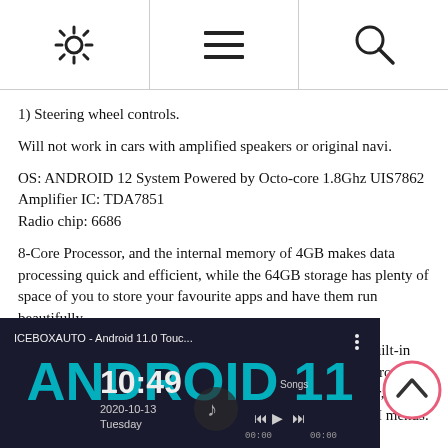[Figure (other): Navigation bar with three icons: settings gear, menu/list, and search/magnifier, separated by vertical lines]
1) Steering wheel controls.
Will not work in cars with amplified speakers or original navi.
OS: ANDROID 12 System Powered by Octo-core 1.8Ghz UIS7862
Amplifier IC: TDA7851
Radio chip: 6686
8-Core Processor, and the internal memory of 4GB makes data processing quick and efficient, while the 64GB storage has plenty of space of you to store your favourite apps and have them run beautifully.
Features - ANDROID 12.0 Car Stereo with 9" IPS screen built-in CarPlay/Android Auto supports GPS, 4K Video, Screen Mirroring, Backup Camera, Wi-Fi/4G sim holder, DSP sound processor, USB, DVR, OBD, TPMS, Steering Wheel Control. Choice of 7 UI menus.
[Figure (screenshot): Screenshot of ICEBOXAUTO Android 11.0 touch screen car stereo showing time 10:49 and date 2020-10-13 Tuesday]